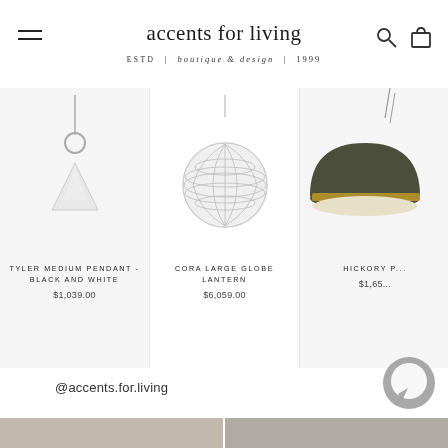accents for living | ESTD | boutique & design | 1999
[Figure (photo): Tyler Medium Pendant - Black and White pendant light product photo on light grey background]
TYLER MEDIUM PENDANT - BLACK AND WHITE
$1,039.00
[Figure (photo): Cora Large Globe Lantern pendant light product photo - white globe with wire grid pattern]
CORA LARGE GLOBE LANTERN
$6,059.00
[Figure (photo): Hickory pendant light partial view - dark olive/brass dome shade]
HICKORY P...
$1,65...
@accents.for.living
[Figure (photo): Chat bubble icon in grey]
[Figure (photo): Two partial interior room photos at bottom of page]